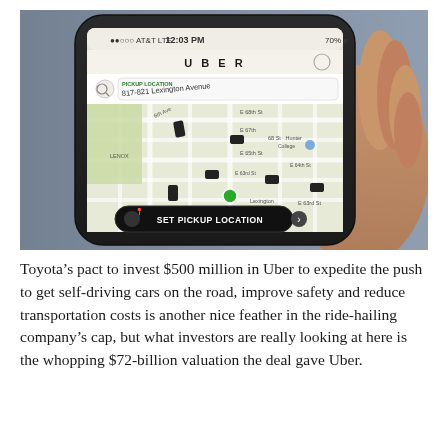[Figure (photo): A hand holding a black iPhone displaying the Uber app with a map showing 817-821 Lexington Avenue as the pickup location, with a 'SET PICKUP LOCATION' button visible on screen. The phone shows AT&T LTE carrier, 12:03 PM, 70% battery.]
Toyota's pact to invest $500 million in Uber to expedite the push to get self-driving cars on the road, improve safety and reduce transportation costs is another nice feather in the ride-hailing company's cap, but what investors are really looking at here is the whopping $72-billion valuation the deal gave Uber.